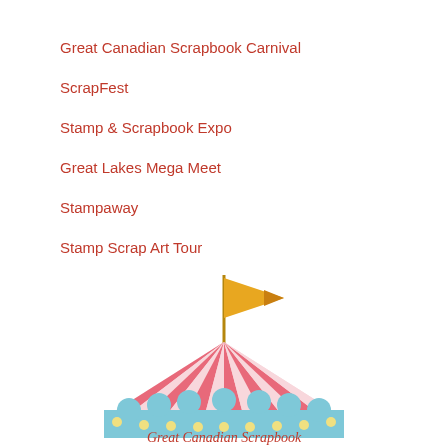Great Canadian Scrapbook Carnival
ScrapFest
Stamp & Scrapbook Expo
Great Lakes Mega Meet
Stampaway
Stamp Scrap Art Tour
[Figure (illustration): Carnival tent illustration with pink and white stripes, a golden flag on top, and a light blue decorative crown base. Below is the text 'Great Canadian Scrapbook' in red cursive script and 'CARNIVAL' in large colorful block letters with dots.]